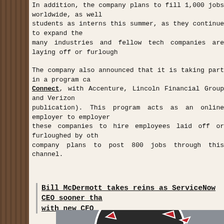In addition, the company plans to fill 1,000 jobs worldwide, as well as hire students as interns this summer, as they continue to expand their work as many industries and fellow tech companies are laying off or furloughing staff.
The company also announced that it is taking part in a program called Talent Connect, with Accenture, Lincoln Financial Group and Verizon (among others at publication). This program acts as an online employer to employer platform allowing these companies to hire employees laid off or furloughed by other companies. The company plans to post 800 jobs through this channel.
Bill McDermott takes reins as ServiceNow CEO sooner than expected, company comes with new CFO
[Figure (illustration): Coronavirus-style graphic showing a dark sphere with red spike proteins on a grey background, partially visible]